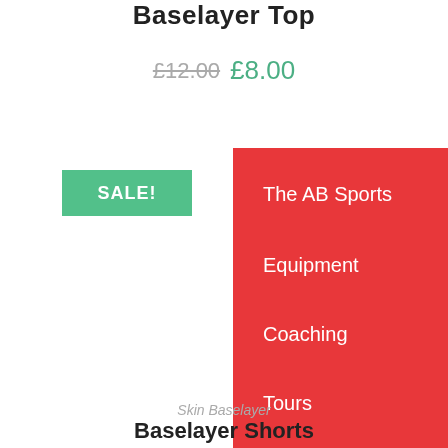Baselayer Top
£12.00 £8.00
[Figure (other): SALE! badge button in green/teal color]
[Figure (other): Red navigation menu panel with items: The AB Sports, Equipment, Coaching, Tours, Contact Us]
Skin Baselayer
Baselayer Shorts